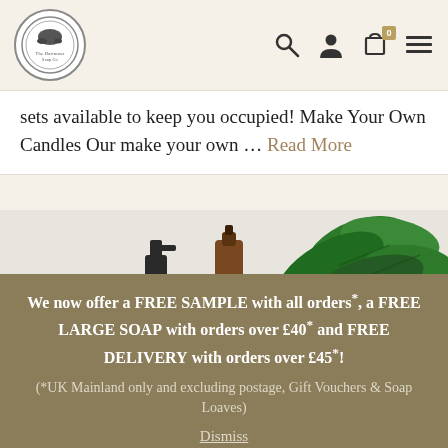The Dartmoor Soap Co — navigation header with logo, search, account, cart (0), and menu icons
sets available to keep you occupied! Make Your Own Candles Our make your own … Read More
[Figure (photo): Product photo showing soap dispensers and green tropical plant leaves against a light background]
We now offer a FREE SAMPLE with all orders*, a FREE LARGE SOAP with orders over £40* and FREE DELIVERY with orders over £45*! (*UK Mainland only and excluding postage, Gift Vouchers & Soap Loaves) Dismiss